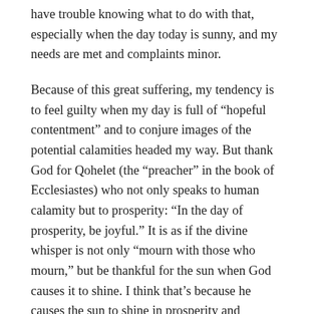have trouble knowing what to do with that, especially when the day today is sunny, and my needs are met and complaints minor.
Because of this great suffering, my tendency is to feel guilty when my day is full of “hopeful contentment” and to conjure images of the potential calamities headed my way. But thank God for Qohelet (the “preacher” in the book of Ecclesiastes) who not only speaks to human calamity but to prosperity: “In the day of prosperity, be joyful.” It is as if the divine whisper is not only “mourn with those who mourn,” but be thankful for the sun when God causes it to shine. I think that’s because he causes the sun to shine in prosperity and calamity, and its shining is always in some way a gift. Suffering abounds, and as a follower of Christ I believe I have a responsibility to alleviate as much as possible. I’m not always sure what that looks like; but I am sure that when days are springy